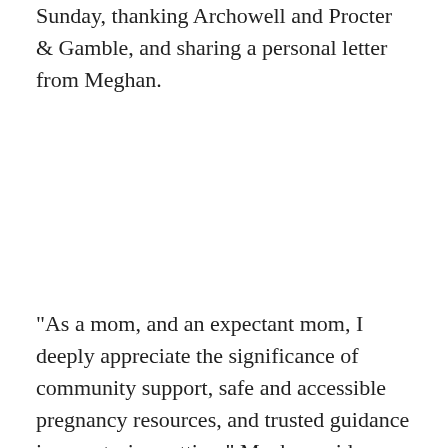Sunday, thanking Archowell and Procter & Gamble, and sharing a personal letter from Meghan.
"As a mom, and an expectant mom, I deeply appreciate the significance of community support, safe and accessible pregnancy resources, and trusted guidance in a nurturing setting," Meghan said. "These ingredients are